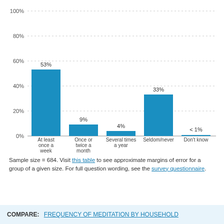[Figure (bar-chart): ]
Sample size = 684. Visit this table to see approximate margins of error for a group of a given size. For full question wording, see the survey questionnaire.
COMPARE: FREQUENCY OF MEDITATION BY HOUSEHOLD